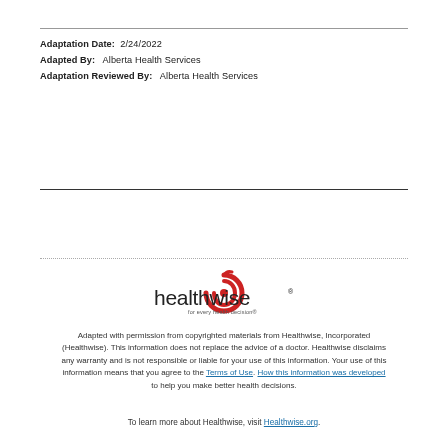Adaptation Date:  2/24/2022
Adapted By:   Alberta Health Services
Adaptation Reviewed By:   Alberta Health Services
[Figure (logo): Healthwise logo with tagline 'for every health decision']
Adapted with permission from copyrighted materials from Healthwise, Incorporated (Healthwise). This information does not replace the advice of a doctor. Healthwise disclaims any warranty and is not responsible or liable for your use of this information. Your use of this information means that you agree to the Terms of Use. How this information was developed to help you make better health decisions.
To learn more about Healthwise, visit Healthwise.org.